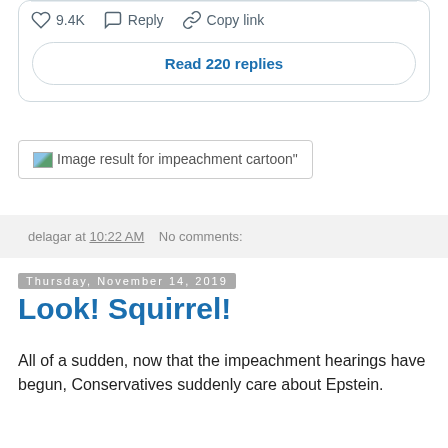[Figure (screenshot): Twitter/X post action bar showing heart icon with 9.4K likes, Reply button, Copy link button, and a 'Read 220 replies' button]
[Figure (screenshot): Broken image placeholder with alt text: Image result for impeachment cartoon"]
delagar at 10:22 AM    No comments:
Thursday, November 14, 2019
Look! Squirrel!
All of a sudden, now that the impeachment hearings have begun, Conservatives suddenly care about Epstein.